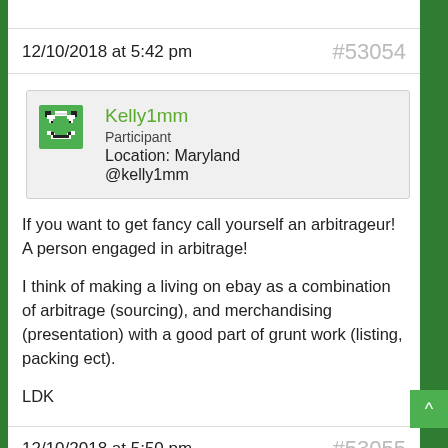12/10/2018 at 5:42 pm   #53054
[Figure (illustration): Green pixel avatar icon for user Kelly1mm]
Kelly1mm
Participant
Location: Maryland
@kelly1mm
If you want to get fancy call yourself an arbitrageur! A person engaged in arbitrage!

I think of making a living on ebay as a combination of arbitrage (sourcing), and merchandising (presentation) with a good part of grunt work (listing, packing ect).

LDK
12/10/2018 at 5:50 pm   #53055